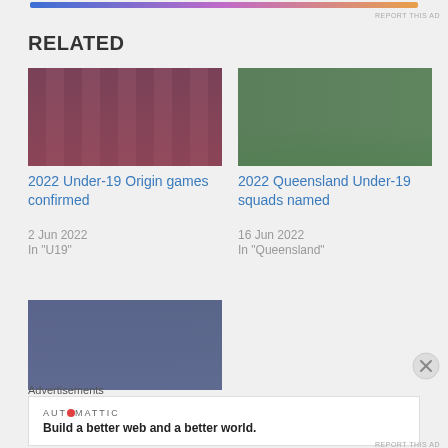REPORT THIS AD
RELATED
[Figure (photo): Rugby league team in maroon jerseys gathered on a field]
2022 Under-19 Origin games confirmed
2 Jun 2022
In "U19"
[Figure (photo): Rugby league player running with the ball on a green field]
2022 Queensland Under-19 squads named
16 Jun 2022
In "Queensland"
[Figure (photo): Rugby league player in black and white jersey running with ball]
Advertisements
[Figure (other): Automattic advertisement: AUT⊙MATTIC — Build a better web and a better world.]
REPORT THIS AD